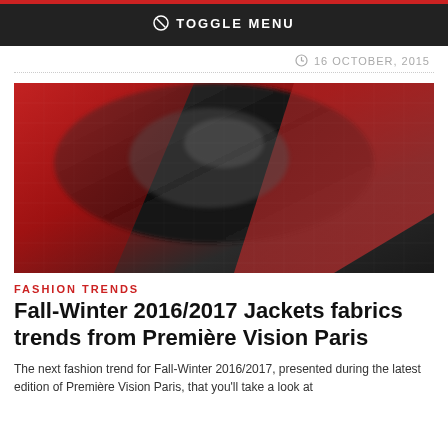TOGGLE MENU
16 OCTOBER, 2015
[Figure (photo): Close-up photo of red and dark grey plaid/checkered fabric with textile texture visible]
FASHION TRENDS
Fall-Winter 2016/2017 Jackets fabrics trends from Première Vision Paris
The next fashion trend for Fall-Winter 2016/2017, presented during the latest edition of Première Vision Paris, that you'll take a look at